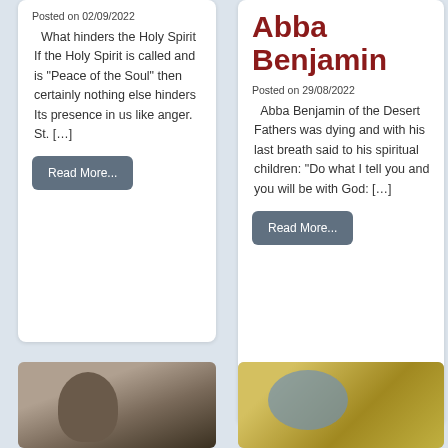Posted on 02/09/2022
What hinders the Holy Spirit If the Holy Spirit is called and is “Peace of the Soul” then certainly nothing else hinders Its presence in us like anger. St. […]
Read More...
Abba Benjamin
Posted on 29/08/2022
Abba Benjamin of the Desert Fathers was dying and with his last breath said to his spiritual children: “Do what I tell you and you will be with God: […]
Read More...
[Figure (photo): Photo of a priest or religious figure wearing a black cap, with an icon in the background]
[Figure (photo): Photo of a golden artifact or religious object with blue decorative elements]